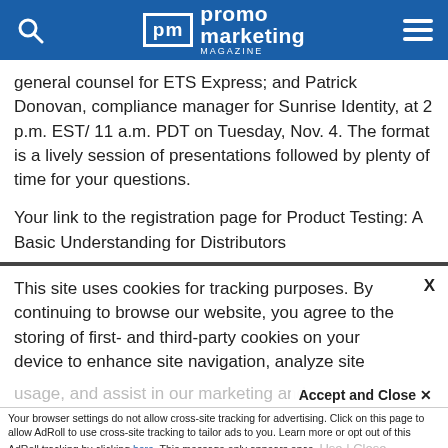promo marketing Magazine
general counsel for ETS Express; and Patrick Donovan, compliance manager for Sunrise Identity, at 2 p.m. EST/ 11 a.m. PDT on Tuesday, Nov. 4. The format is a lively session of presentations followed by plenty of time for your questions.

Your link to the registration page for Product Testing: A Basic Understanding for Distributors
This site uses cookies for tracking purposes. By continuing to browse our website, you agree to the storing of first- and third-party cookies on your device to enhance site navigation, analyze site usage, and assist in our marketing and
Accept and Close ✕
Your browser settings do not allow cross-site tracking for advertising. Click on this page to allow AdRoll to use cross-site tracking to tailor ads to you. Learn more or opt out of this AdRoll tracking by clicking here. This message only appears once.